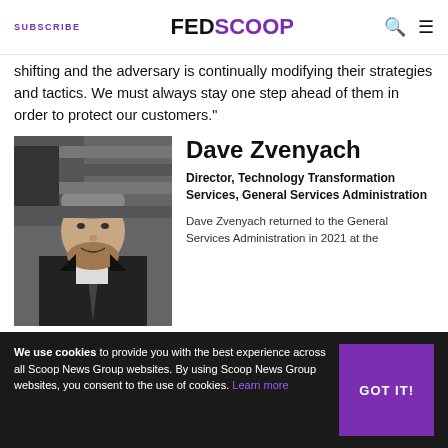SUBSCRIBE | FEDSCOOP
shifting and the adversary is continually modifying their strategies and tactics. We must always stay one step ahead of them in order to protect our customers."
[Figure (photo): Black and white headshot photo of Dave Zvenyach, a man in a suit and tie, with an American flag in the background]
Dave Zvenyach
Director, Technology Transformation Services, General Services Administration
Dave Zvenyach returned to the General Services Administration in 2021 at the start of the Biden administration amid a governmentwide focus on digital transformation and enhanced service delivery. Since the administration's publication of an executive order focused on customer experience, Zvenyach has spearheaded GSA role as a leader in promoting shared digital services on behalf of
We use cookies to provide you with the best experience across all Scoop News Group websites. By using Scoop News Group websites, you consent to the use of cookies. Learn more